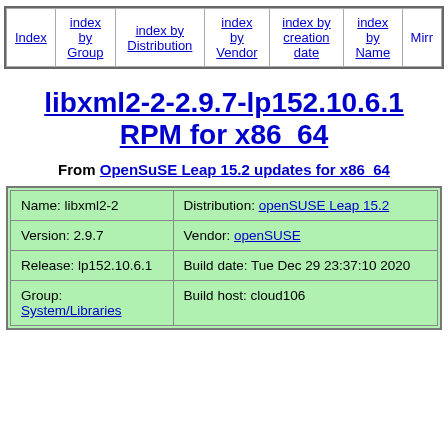| Index | index by Group | index by Distribution | index by Vendor | index by creation date | index by Name | Mirr… |
libxml2-2-2.9.7-lp152.10.6.1 RPM for x86_64
From OpenSuSE Leap 15.2 updates for x86_64
| Name: libxml2-2 | Distribution: openSUSE Leap 15.2 |
| Version: 2.9.7 | Vendor: openSUSE |
| Release: lp152.10.6.1 | Build date: Tue Dec 29 23:37:10 2020 |
| Group: System/Libraries | Build host: cloud106 |